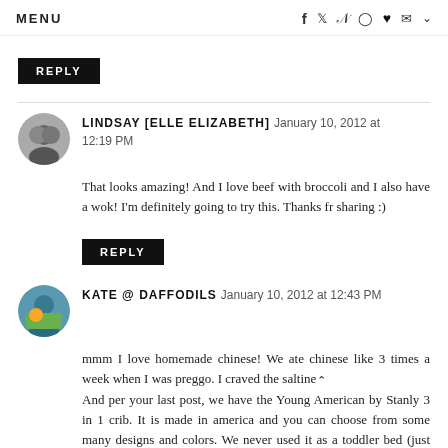MENU  [icons: f, twitter, pinterest, instagram, heart, mail, chevron]
REPLY [button]
LINDSAY [ELLE ELIZABETH]  January 10, 2012 at 12:19 PM
That looks amazing! And I love beef with broccoli and I also have a wok! I'm definitely going to try this. Thanks fr sharing :)
REPLY [button]
KATE @ DAFFODILS  January 10, 2012 at 12:43 PM
mmm I love homemade chinese! We ate chinese like 3 times a week when I was preggo. I craved the saltines. And per your last post, we have the Young American by Stanly 3 in 1 crib. It is made in america and you can choose from some many designs and colors. We never used it as a toddler bed (just gave it to bennett and cullen